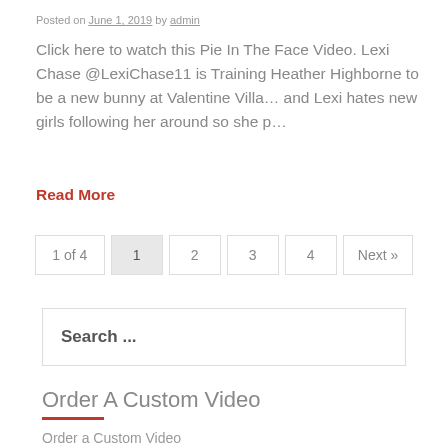Posted on June 1, 2019 by admin
Click here to watch this Pie In The Face Video. Lexi Chase @LexiChase11 is Training Heather Highborne to be a new bunny at Valentine Villa… and Lexi hates new girls following her around so she p…
Read More
1 of 4   1   2   3   4   Next »
Search ...
Order A Custom Video
Order a Custom Video